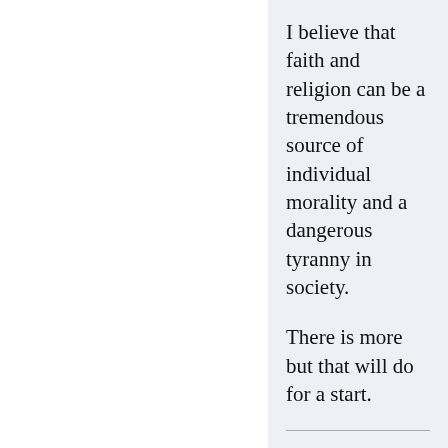I believe that faith and religion can be a tremendous source of individual morality and a dangerous tyranny in society.
There is more but that will do for a start.
And there you go, presuming to and f—